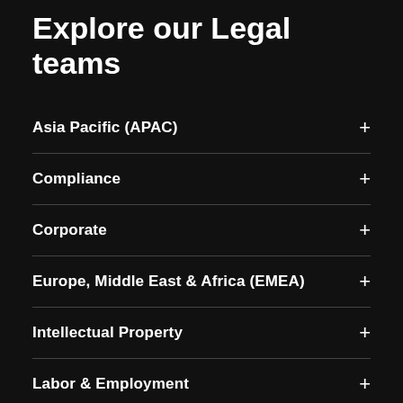Explore our Legal teams
Asia Pacific (APAC)
Compliance
Corporate
Europe, Middle East & Africa (EMEA)
Intellectual Property
Labor & Employment
Latin America (LatAm)